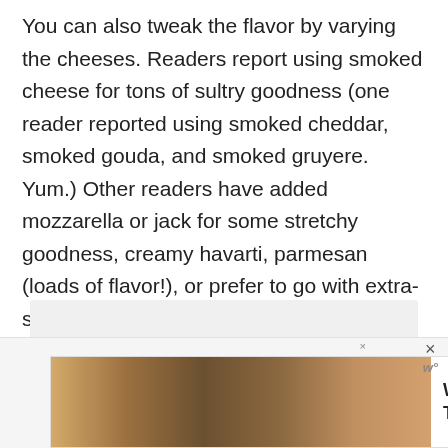You can also tweak the flavor by varying the cheeses. Readers report using smoked cheese for tons of sultry goodness (one reader reported using smoked cheddar, smoked gouda, and smoked gruyere. Yum.) Other readers have added mozzarella or jack for some stretchy goodness, creamy havarti, parmesan (loads of flavor!), or prefer to go with extra-sharp cheddar.
[Figure (other): Gray placeholder box]
[Figure (other): Advertisement banner: image of group of people with backs to camera with arms around each other, text reads 'We Stand Together', with close buttons]